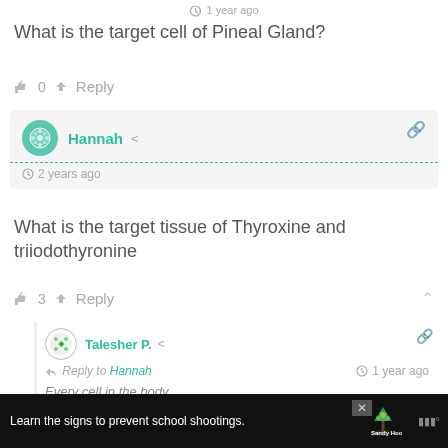1 year ago
What is the target cell of Pineal Gland?
👍 0  ➤ Reply
Hannah  2 years ago
What is the target tissue of Thyroxine and triiodothyronine
👍 3  ➤ Reply
Talesher P.  Reply to Hannah  1 year ago
Every cell in the body
Learn the signs to prevent school shootings.